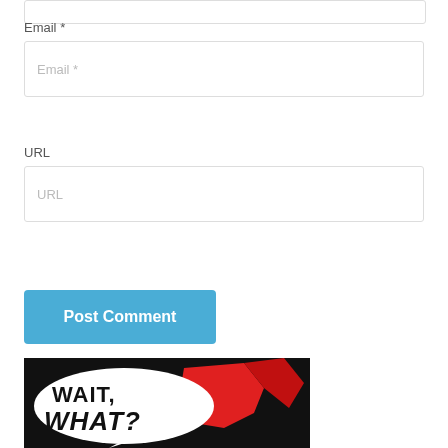Email *
Email *
URL
URL
Post Comment
[Figure (illustration): Comic-style image with black background, red figure, and speech bubble saying 'WAIT, WHAT?']